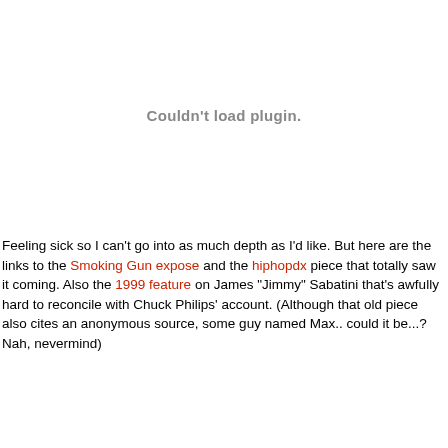[Figure (other): Plugin embed area showing 'Couldn't load plugin.' error message in gray text]
Feeling sick so I can't go into as much depth as I'd like. But here are the links to the Smoking Gun expose and the hiphopdx piece that totally saw it coming. Also the 1999 feature on James "Jimmy" Sabatini that's awfully hard to reconcile with Chuck Philips' account. (Although that old piece also cites an anonymous source, some guy named Max.. could it be...? Nah, nevermind)